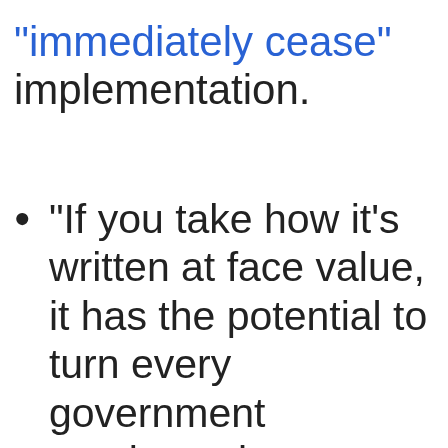"immediately cease" implementation.
"If you take how it's written at face value, it has the potential to turn every government employee into a political appointee, who